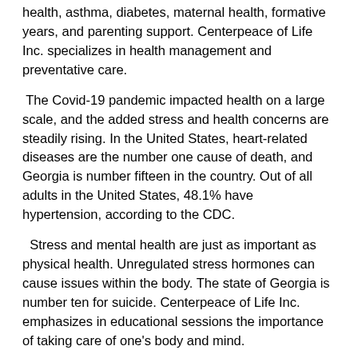health, asthma, diabetes, maternal health, formative years, and parenting support. Centerpeace of Life Inc. specializes in health management and preventative care.
The Covid-19 pandemic impacted health on a large scale, and the added stress and health concerns are steadily rising. In the United States, heart-related diseases are the number one cause of death, and Georgia is number fifteen in the country. Out of all adults in the United States, 48.1% have hypertension, according to the CDC.
Stress and mental health are just as important as physical health. Unregulated stress hormones can cause issues within the body. The state of Georgia is number ten for suicide. Centerpeace of Life Inc. emphasizes in educational sessions the importance of taking care of one's body and mind.
Caring for one's body and mental stress management is essential regardless of age and current health; however, it is